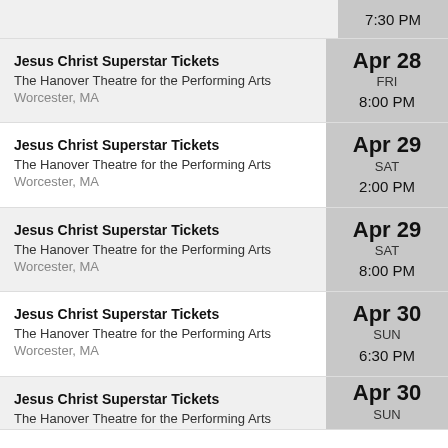7:30 PM (partial top row)
Jesus Christ Superstar Tickets | The Hanover Theatre for the Performing Arts | Worcester, MA | Apr 28 FRI 8:00 PM
Jesus Christ Superstar Tickets | The Hanover Theatre for the Performing Arts | Worcester, MA | Apr 29 SAT 2:00 PM
Jesus Christ Superstar Tickets | The Hanover Theatre for the Performing Arts | Worcester, MA | Apr 29 SAT 8:00 PM
Jesus Christ Superstar Tickets | The Hanover Theatre for the Performing Arts | Worcester, MA | Apr 30 SUN 6:30 PM
Jesus Christ Superstar Tickets | The Hanover Theatre for the Performing Arts | Apr 30 SUN (partial bottom)